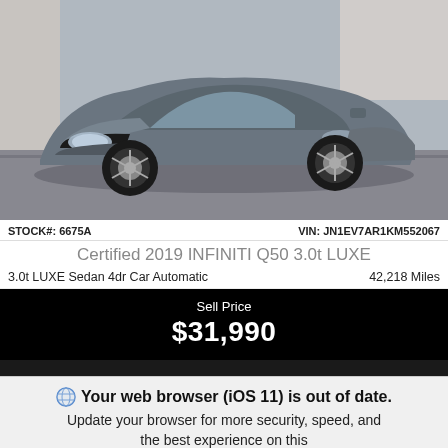[Figure (photo): Gray 2019 Infiniti Q50 3.0t LUXE sedan, front 3/4 view, parked on a street]
STOCK#: 6675A    VIN: JN1EV7AR1KM552067
Certified 2019 INFINITI Q50 3.0t LUXE
3.0t LUXE Sedan 4dr Car Automatic    42,218 Miles
Sell Price
$31,990
Your web browser (iOS 11) is out of date. Update your browser for more security, speed and the best experience on this...
Update browser    Ignore